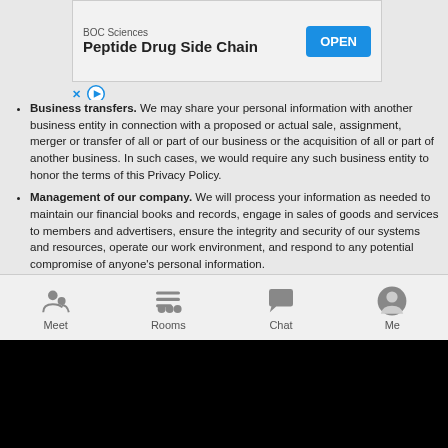[Figure (screenshot): Advertisement banner for BOC Sciences Peptide Drug Side Chain with OPEN button]
Business transfers. We may share your personal information with another business entity in connection with a proposed or actual sale, assignment, merger or transfer of all or part of our business or the acquisition of all or part of another business. In such cases, we would require any such business entity to honor the terms of this Privacy Policy.
Management of our company. We will process your information as needed to maintain our financial books and records, engage in sales of goods and services to members and advertisers, ensure the integrity and security of our systems and resources, operate our work environment, and respond to any potential compromise of anyone's personal information.
Service providers. We transfer information to vendors, service providers, and other partners who support our business, such as providing technical infrastructure services, analyzing how our services are used, measuring the effectiveness of ads and services, providing customer service, facilitating payments, or conducting research and surveys. These partners agree to
Meet   Rooms   Chat   Me